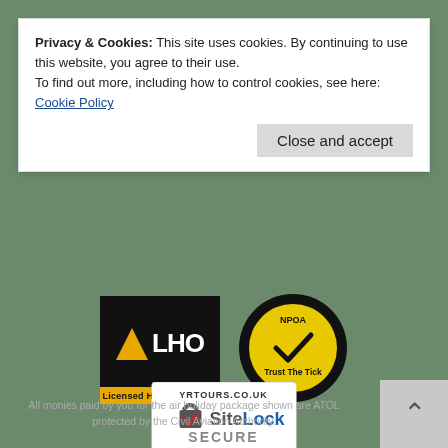Privacy & Cookies: This site uses cookies. By continuing to use this website, you agree to their use.
To find out more, including how to control cookies, see here: Cookie Policy
Close and accept
[Figure (logo): LHO Licensed Hajj Organisers badge - black background with gold arrow and LHO text, gold bottom bar reading 'Licensed Hajj Organisers']
[Figure (logo): NPOA Trust The Tick circular badge - black circle with yellow inner circle, NPOA logo and Trust The Tick text, National Pilgrimage Organisers Association]
[Figure (logo): SiteLock SECURE badge for yrtours.co.uk - Passed 29-Aug-2022]
All monies paid by you for the air holiday package shown are ATOL protected by the Civil Aviation Authority.
Our ATOL number is ATOL 9906. For more information see our booking terms and conditions.
Yousaf Religious Tours | 166 Selbourne Road, Luton, Beds LU4 8LT 01582 583 103
All rights reserved © 2022